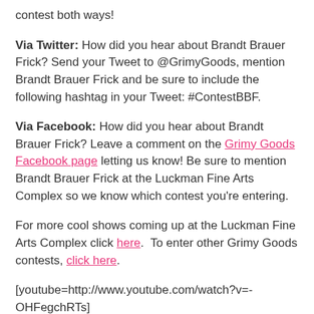contest both ways!
Via Twitter: How did you hear about Brandt Brauer Frick? Send your Tweet to @GrimyGoods, mention Brandt Brauer Frick and be sure to include the following hashtag in your Tweet: #ContestBBF.
Via Facebook: How did you hear about Brandt Brauer Frick? Leave a comment on the Grimy Goods Facebook page letting us know! Be sure to mention Brandt Brauer Frick at the Luckman Fine Arts Complex so we know which contest you're entering.
For more cool shows coming up at the Luckman Fine Arts Complex click here.  To enter other Grimy Goods contests, click here.
[youtube=http://www.youtube.com/watch?v=-OHFegchRTs]